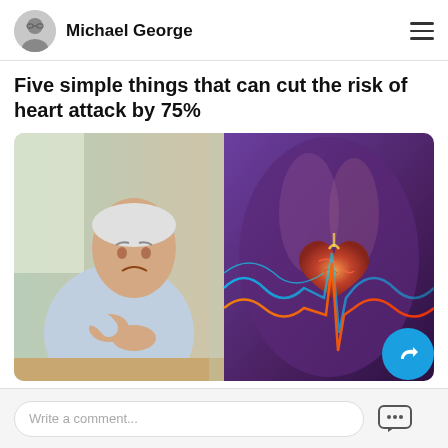Michael George
Five simple things that can cut the risk of heart attack by 75%
[Figure (photo): Split image: left side shows an elderly man clutching his chest in pain; right side shows a 3D medical illustration of a human heart with ECG/heartbeat lines overlaid on a torso anatomy background.]
Write a comment...